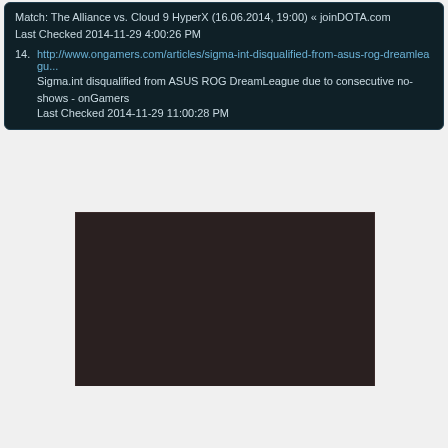Match: The Alliance vs. Cloud 9 HyperX (16.06.2014, 19:00) « joinDOTA.com
Last Checked 2014-11-29 4:00:26 PM
14. http://www.ongamers.com/articles/sigma-int-disqualified-from-asus-rog-dreamleagu...
Sigma.int disqualified from ASUS ROG DreamLeague due to consecutive no-shows - onGamers
Last Checked 2014-11-29 11:00:28 PM
[Figure (other): Dark brownish-gray rectangle, appears to be a placeholder or embedded video content area]